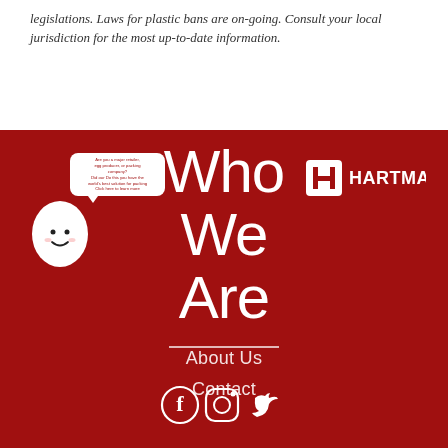legislations. Laws for plastic bans are on-going. Consult your local jurisdiction for the most up-to-date information.
[Figure (illustration): Egg-shaped mascot character with a speech bubble containing small red text about egg production or packing company]
[Figure (logo): Hartmann logo - white square icon with H symbol followed by HARTMANN text in white]
Who We Are
About Us
Contact
[Figure (illustration): Social media icons: Facebook, Instagram, Twitter in white]